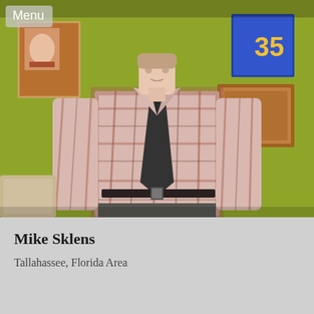[Figure (photo): A man standing in front of a yellow-green wall, wearing a plaid shirt and dark tie with dark trousers. Posters and a wooden frame are visible on the wall behind him. A 'Menu' button overlay appears in the top-left corner.]
Mike Sklens
Tallahassee, Florida Area